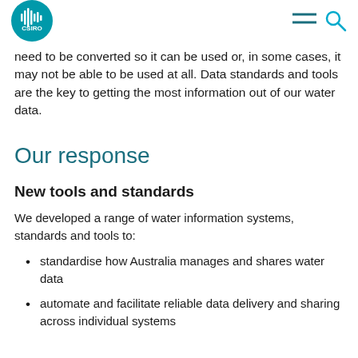CSIRO logo and navigation icons
need to be converted so it can be used or, in some cases, it may not be able to be used at all. Data standards and tools are the key to getting the most information out of our water data.
Our response
New tools and standards
We developed a range of water information systems, standards and tools to:
standardise how Australia manages and shares water data
automate and facilitate reliable data delivery and sharing across individual systems